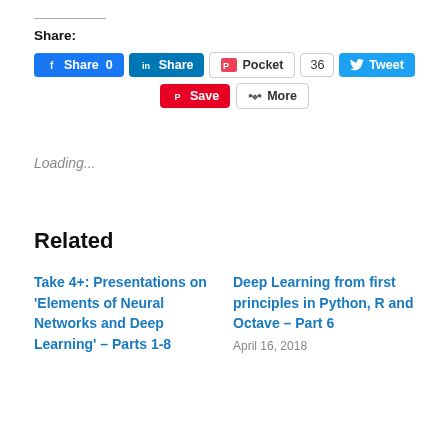Share:
[Figure (screenshot): Social share buttons: Facebook Share 0, LinkedIn Share, Pocket 36, Tweet, Pinterest Save, More]
Loading...
Related
Take 4+: Presentations on ‘Elements of Neural Networks and Deep Learning’ – Parts 1-8
Deep Learning from first principles in Python, R and Octave – Part 6
April 16, 2018